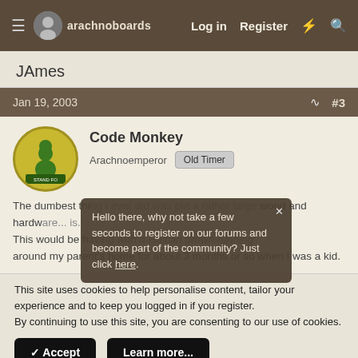arachnoboards — Log in  Register
JAmes
Jan 19, 2003  #3
Code Monkey
Arachnoemperor  Old Timer
The dumbest thi... I put a rather large wood and hardw... is.
This would be h... with a Haitian brown running around my parent's home for about 3 months or so when I was a kid.
Hello there, why not take a few seconds to register on our forums and become part of the community? Just click here.
This site uses cookies to help personalise content, tailor your experience and to keep you logged in if you register.
By continuing to use this site, you are consenting to our use of cookies.
✓ Accept    Learn more...